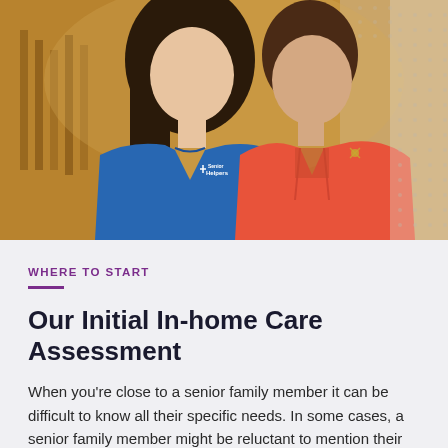[Figure (photo): Two women posing together indoors — one wearing a blue Senior Helpers polo shirt, the other wearing a red/coral jacket. Background shows warm interior setting.]
WHERE TO START
Our Initial In-home Care Assessment
When you're close to a senior family member it can be difficult to know all their specific needs. In some cases, a senior family member might be reluctant to mention their more personal needs. Our trained